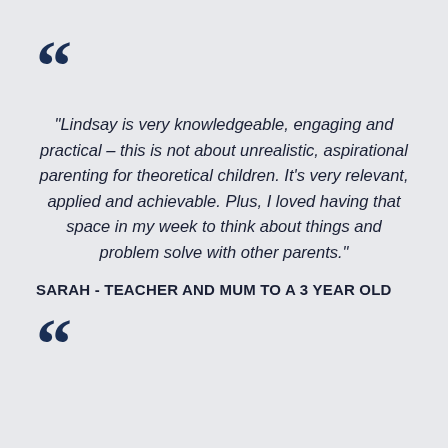[Figure (illustration): Large decorative opening quotation mark in dark navy blue]
"Lindsay is very knowledgeable, engaging and practical – this is not about unrealistic, aspirational parenting for theoretical children. It's very relevant, applied and achievable. Plus, I loved having that space in my week to think about things and problem solve with other parents."
SARAH - TEACHER AND MUM TO A 3 YEAR OLD
[Figure (illustration): Large decorative closing quotation mark in dark navy blue]